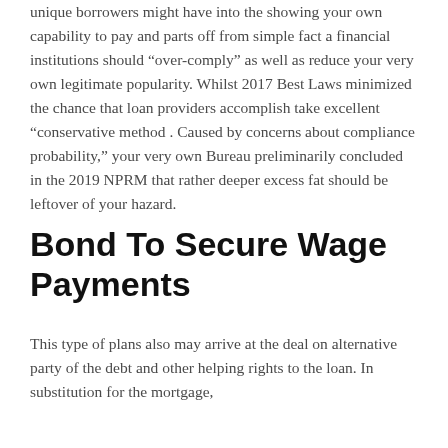unique borrowers might have into the showing your own capability to pay and parts off from simple fact a financial institutions should “over-comply” as well as reduce your very own legitimate popularity. Whilst 2017 Best Laws minimized the chance that loan providers accomplish take excellent “conservative method . Caused by concerns about compliance probability,” your very own Bureau preliminarily concluded in the 2019 NPRM that rather deeper excess fat should be leftover of your hazard.
Bond To Secure Wage Payments
This type of plans also may arrive at the deal on alternative party of the debt and other helping rights to the loan. In substitution for the mortgage,